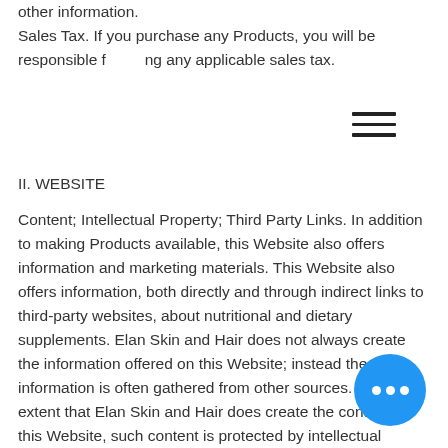other information. Sales Tax. If you purchase any Products, you will be responsible for paying any applicable sales tax.
II. WEBSITE
Content; Intellectual Property; Third Party Links. In addition to making Products available, this Website also offers information and marketing materials. This Website also offers information, both directly and through indirect links to third-party websites, about nutritional and dietary supplements. Elan Skin and Hair does not always create the information offered on this Website; instead the information is often gathered from other sources. To the extent that Elan Skin and Hair does create the content on this Website, such content is protected by intellectual property laws of the India, foreign nations, and international b... Unauthorized use of the material m... violate copyright, trademark, and/or other laws. You acknowledge that...